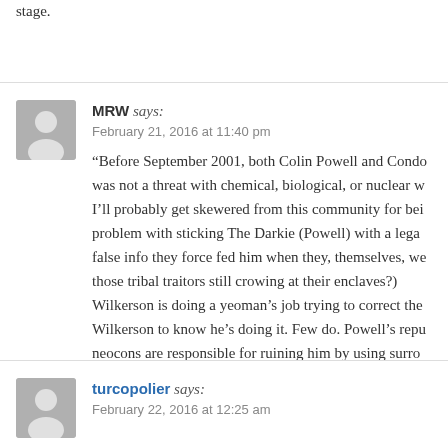stage.
MRW says: February 21, 2016 at 11:40 pm
“Before September 2001, both Colin Powell and Condo... was not a threat with chemical, biological, or nuclear w... I’ll probably get skewered from this community for bei... problem with sticking The Darkie (Powell) with a lega... false info they force fed him when they, themselves, we... those tribal traitors still crowing at their enclaves?) Wilkerson is doing a yeoman’s job trying to correct the... Wilkerson to know he’s doing it. Few do. Powell’s repu... neocons are responsible for ruining him by using surro...
turcopolier says: February 22, 2016 at 12:25 am